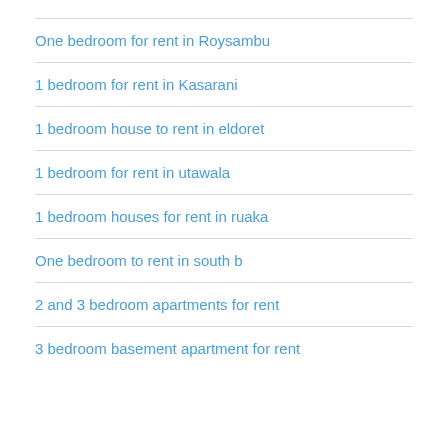One bedroom for rent in Roysambu
1 bedroom for rent in Kasarani
1 bedroom house to rent in eldoret
1 bedroom for rent in utawala
1 bedroom houses for rent in ruaka
One bedroom to rent in south b
2 and 3 bedroom apartments for rent
3 bedroom basement apartment for rent